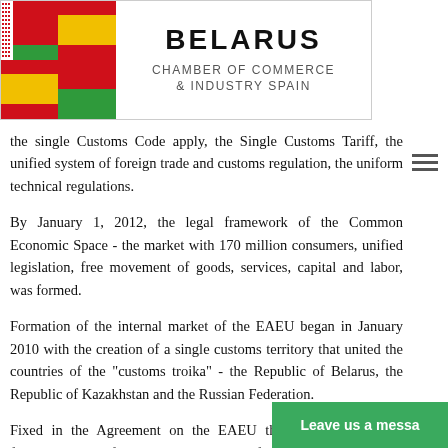[Figure (logo): Belarus Chamber of Commerce & Industry Spain logo with Belarusian and Spanish flags on the left and organization name on the right]
the single Customs Code apply, the Single Customs Tariff, the unified system of foreign trade and customs regulation, the uniform technical regulations.
By January 1, 2012, the legal framework of the Common Economic Space - the market with 170 million consumers, unified legislation, free movement of goods, services, capital and labor, was formed.
Formation of the internal market of the EAEU began in January 2010 with the creation of a single customs territory that united the countries of the "customs troika" - the Republic of Belarus, the Republic of Kazakhstan and the Russian Federation.
Fixed in the Agreement on the EAEU the principle of «four freedoms» as a fundamental principle of the functioning of the internal market enshrined the protective measures of the domestic